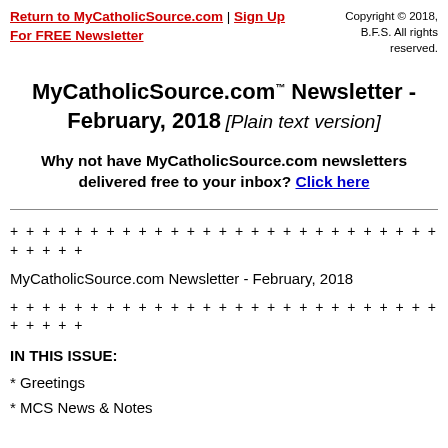Return to MyCatholicSource.com | Sign Up For FREE Newsletter   Copyright © 2018, B.F.S. All rights reserved.
MyCatholicSource.com™ Newsletter - February, 2018 [Plain text version]
Why not have MyCatholicSource.com newsletters delivered free to your inbox? Click here
+ + + + + + + + + + + + + + + + + + + + + + + + + + + + + + + +
MyCatholicSource.com Newsletter - February, 2018
+ + + + + + + + + + + + + + + + + + + + + + + + + + + + + + + +
IN THIS ISSUE:
* Greetings
* MCS News & Notes